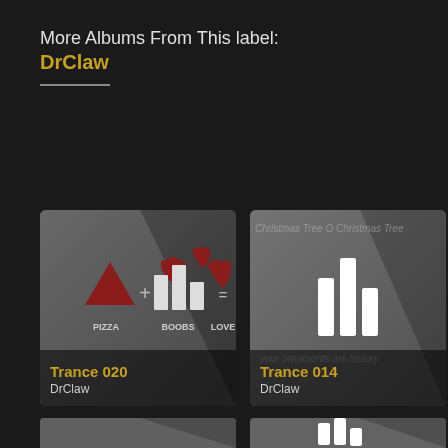More Albums From This label:
DrClaw
[Figure (illustration): Album cover for Trance 020 by DrClaw. Dark grey background with diagonal shadow. Infographic showing a red downward triangle (pizza) + bar chart icons with red hearts (boobs) = red heart (love). Labels: PIZZA, BOOBS, LOVE.]
Trance 020
DrClaw
[Figure (illustration): Album cover for Trance 014 by DrClaw. Dark grey background with diagonal shadow. White bar chart icon in center. Faint text reads 'Christmas Tree O Christmas Tree' and 'your ornaments are history'.]
Trance 014
DrClaw